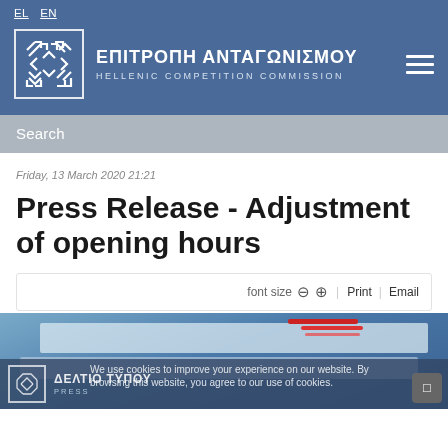EL  EN
[Figure (logo): Hellenic Competition Commission logo with Greek text ΕΠΙΤΡΟΠΗ ΑΝΤΑΓΩΝΙΣΜΟΥ and English text HELLENIC COMPETITION COMMISSION]
Search
Friday, 13 March 2020 21:21
Press Release - Adjustment of opening hours
font size  −  +  |  Print  |  Email
[Figure (photo): Photo of a building exterior with Greek signs including ΔΕΛΤΙΟ ΤΥΠΟΥ (PRESS) and ΕΠΙΤΡΟΠΗ ΑΝΤΑΓΩΝΙΣΜΟΥ, with a cookie consent banner overlay reading: We use cookies to improve your experience on our website. By browsing this website, you agree to our use of cookies.]